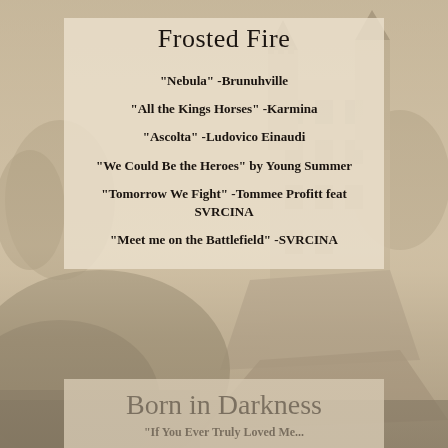Frosted Fire
"Nebula" -Brunuhville
"All the Kings Horses" -Karmina
"Ascolta" -Ludovico Einaudi
"We Could Be the Heroes" by Young Summer
"Tomorrow We Fight" -Tommee Profitt feat SVRCINA
"Meet me on the Battlefield" -SVRCINA
Born in Darkness
"If You Ever Truly Loved Me...